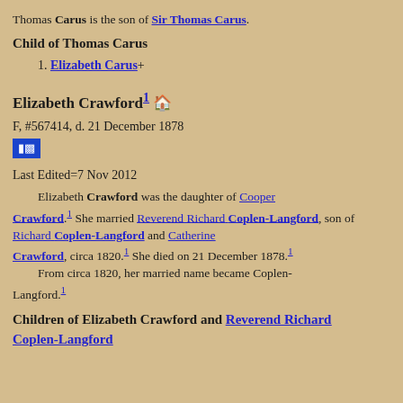Thomas Carus is the son of Sir Thomas Carus.
Child of Thomas Carus
1. Elizabeth Carus+
Elizabeth Crawford¹
F, #567414, d. 21 December 1878
Last Edited=7 Nov 2012
Elizabeth Crawford was the daughter of Cooper Crawford.¹ She married Reverend Richard Coplen-Langford, son of Richard Coplen-Langford and Catherine Crawford, circa 1820.¹ She died on 21 December 1878.¹ From circa 1820, her married name became Coplen-Langford.¹
Children of Elizabeth Crawford and Reverend Richard Coplen-Langford